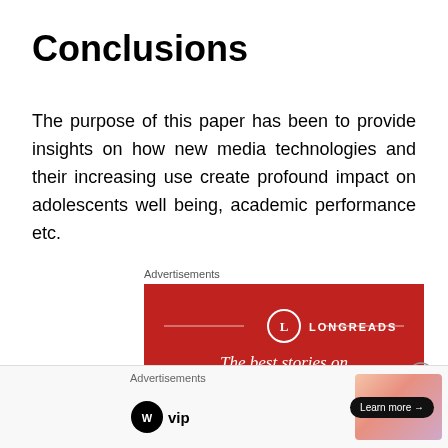Conclusions
The purpose of this paper has been to provide insights on how new media technologies and their increasing use create profound impact on adolescents well being, academic performance etc.
[Figure (other): Longreads advertisement banner with red background showing 'LONGREADS' logo and text 'The best stories on']
[Figure (other): WordPress VIP advertisement banner with gradient background and 'Learn more' button]